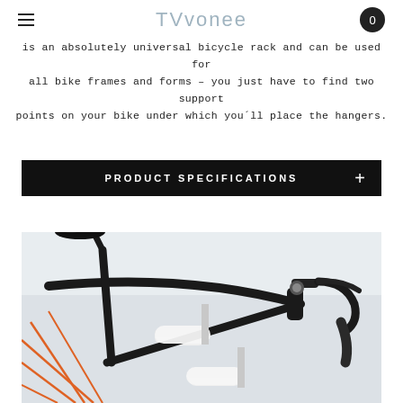TVVonee — 0
is an absolutely universal bicycle rack and can be used for all bike frames and forms – you just have to find two support points on your bike under which you'll place the hangers.
PRODUCT SPECIFICATIONS +
[Figure (photo): Close-up photo of a black road bicycle frame mounted on a white wall-mounted bike rack with white cylindrical hangers. Orange wheel spokes visible on the left.]